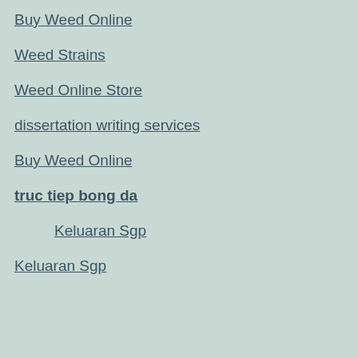Buy Weed Online
Weed Strains
Weed Online Store
dissertation writing services
Buy Weed Online
truc tiep bong da
Keluaran Sgp
Keluaran Sgp